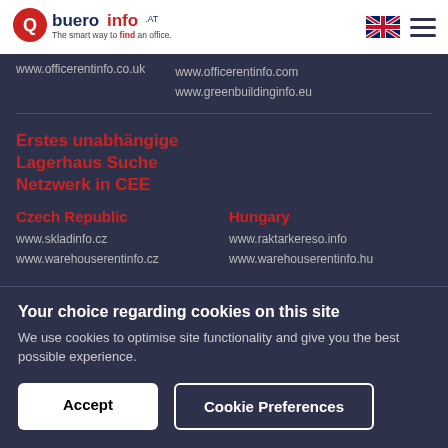[Figure (logo): bueroinfo.at logo - The smart way to find an office]
www.officerentinfo.co.uk
www.officerentinfo.com
www.greenbuildinginfo.eu
Erstes unabhängige Lagerhaus Suche Netzwerk in CEE
Czech Republic
www.skladinfo.cz
www.warehouserentinfo.cz
Hungary
www.raktarkereso.info
www.warehouserentinfo.hu
Poland
Romania
Your choice regarding cookies on this site
We use cookies to optimise site functionality and give you the best possible experience.
Accept
Cookie Preferences